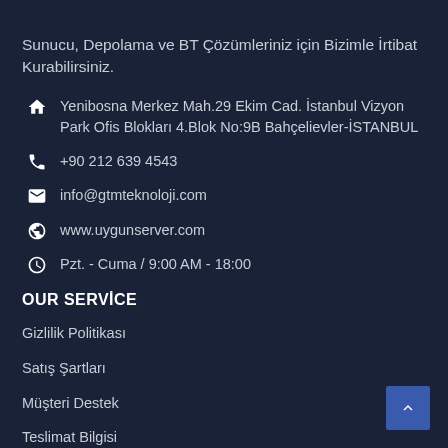Sunucu, Depolama ve BT Çözümleriniz için Bizimle İrtibat Kurabilirsiniz.
Yenibosna Merkez Mah.29 Ekim Cad. İstanbul Vizyon Park Ofis Blokları 4.Blok No:9B Bahçelievler-İSTANBUL
+90 212 639 4543
info@gtmteknoloji.com
www.uygunserver.com
Pzt. - Cuma / 9:00 AM - 18:00
OUR SERVİCE
Gizlilik Politikası
Satış Şartları
Müşteri Destek
Teslimat Bilgisi